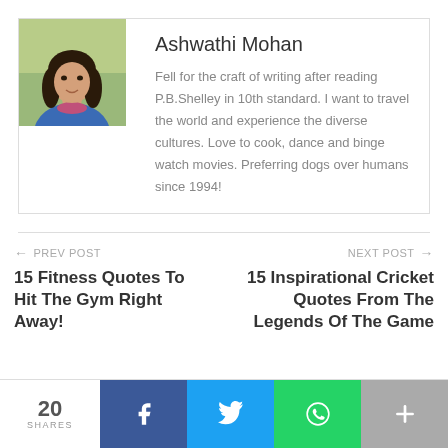[Figure (photo): Headshot photo of Ashwathi Mohan, a young woman with long dark hair, wearing a blue top, outdoors with green background]
Ashwathi Mohan
Fell for the craft of writing after reading P.B.Shelley in 10th standard. I want to travel the world and experience the diverse cultures. Love to cook, dance and binge watch movies. Preferring dogs over humans since 1994!
← PREV POST
15 Fitness Quotes To Hit The Gym Right Away!
NEXT POST →
15 Inspirational Cricket Quotes From The Legends Of The Game
20 SHARES